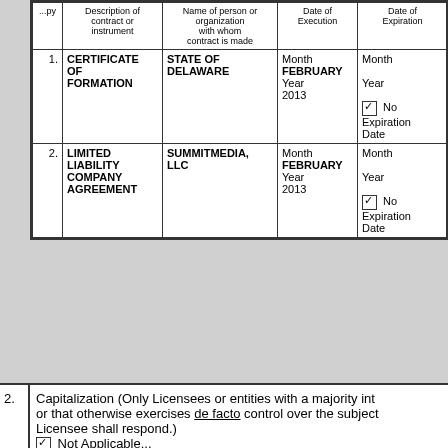|  | Description of contract or instrument | Name of person or organization with whom contract is made | Date of Execution | Date of Expiration | Ag... |
| --- | --- | --- | --- | --- | --- |
| 1. | CERTIFICATE OF FORMATION | STATE OF DELAWARE | Month FEBRUARY Year 2013 | Month
Year
☑ No Expiration Date | ☐ LM...
☐ Ne... Aff... Ag...
☑ |
| 2. | LIMITED LIABILITY COMPANY AGREEMENT | SUMMITMEDIA, LLC | Month FEBRUARY Year 2013 | Month
Year
☑ No Expiration Date | ☐ LM...
☐ Ne... Aff... Ag...
☑ |
2. Capitalization (Only Licensees or entities with a majority int... or that otherwise exercises de facto control over the subject Licensee shall respond.) ☑ Not Applicable...